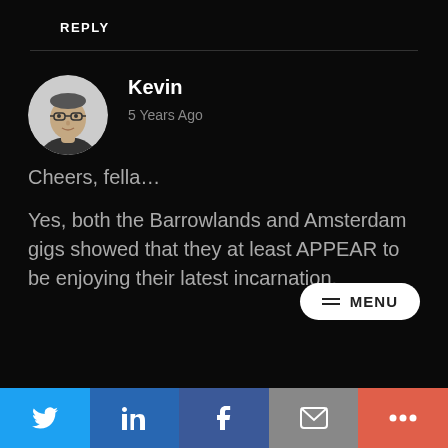REPLY
[Figure (photo): Circular avatar photo of a man with glasses wearing a dark shirt, light background]
Kevin
5 Years Ago
Cheers, fella…
Yes, both the Barrowlands and Amsterdam gigs showed that they at least APPEAR to be enjoying their latest incarnation.
MENU | Twitter | LinkedIn | Facebook | Email | More